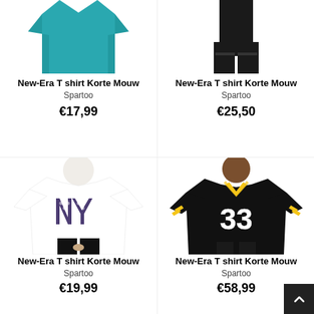[Figure (photo): Partial teal/turquoise short-sleeve t-shirt, top portion visible]
New-Era T shirt Korte Mouw
Spartoo
€17,99
[Figure (photo): Partial black pants/bottom garment, top portion visible]
New-Era T shirt Korte Mouw
Spartoo
€25,50
[Figure (photo): Man wearing white New York Yankees NY logo t-shirt]
New-Era T shirt Korte Mouw
Spartoo
€19,99
[Figure (photo): Man wearing black Pittsburgh Steelers #33 NFL jersey with yellow stripes]
New-Era T shirt Korte Mouw
Spartoo
€58,99